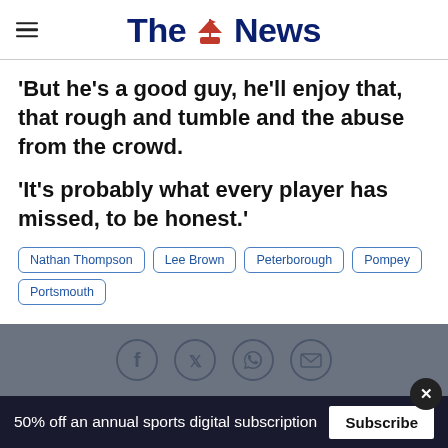The News
'But he's a good guy, he'll enjoy that, that rough and tumble and the abuse from the crowd.
'It's probably what every player has missed, to be honest.'
Nathan Thompson
Lee Brown
Peterborough
Pompey
Portsmouth
[Figure (infographic): Social sharing icons: Facebook, Twitter, WhatsApp, Email on a grey bar]
50% off an annual sports digital subscription  Subscribe